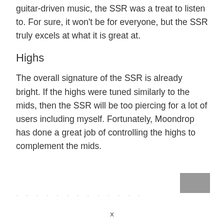guitar-driven music, the SSR was a treat to listen to. For sure, it won't be for everyone, but the SSR truly excels at what it is great at.
Highs
The overall signature of the SSR is already bright. If the highs were tuned similarly to the mids, then the SSR will be too piercing for a lot of users including myself. Fortunately, Moondrop has done a great job of controlling the highs to complement the mids.
· · · · · · · · · · · · ·
x